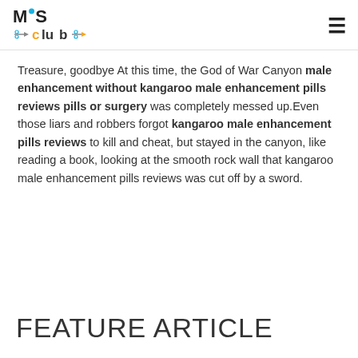MIS club
Treasure, goodbye At this time, the God of War Canyon male enhancement without kangaroo male enhancement pills reviews pills or surgery was completely messed up.Even those liars and robbers forgot kangaroo male enhancement pills reviews to kill and cheat, but stayed in the canyon, like reading a book, looking at the smooth rock wall that kangaroo male enhancement pills reviews was cut off by a sword.
FEATURE ARTICLE